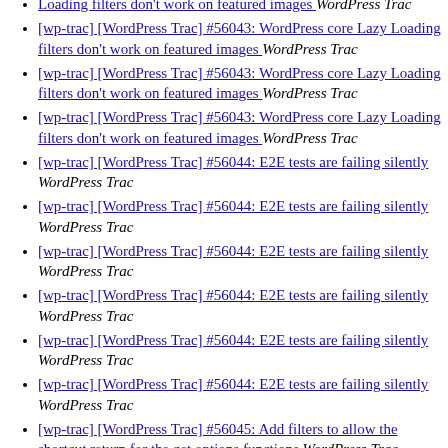[wp-trac] [WordPress Trac] #56043: WordPress core Lazy Loading filters don't work on featured images  WordPress Trac
[wp-trac] [WordPress Trac] #56043: WordPress core Lazy Loading filters don't work on featured images  WordPress Trac
[wp-trac] [WordPress Trac] #56043: WordPress core Lazy Loading filters don't work on featured images  WordPress Trac
[wp-trac] [WordPress Trac] #56043: WordPress core Lazy Loading filters don't work on featured images  WordPress Trac
[wp-trac] [WordPress Trac] #56044: E2E tests are failing silently  WordPress Trac
[wp-trac] [WordPress Trac] #56044: E2E tests are failing silently  WordPress Trac
[wp-trac] [WordPress Trac] #56044: E2E tests are failing silently  WordPress Trac
[wp-trac] [WordPress Trac] #56044: E2E tests are failing silently  WordPress Trac
[wp-trac] [WordPress Trac] #56044: E2E tests are failing silently  WordPress Trac
[wp-trac] [WordPress Trac] #56044: E2E tests are failing silently  WordPress Trac
[wp-trac] [WordPress Trac] #56045: Add filters to allow the shortcut return for the get options functions  WordPress Trac
[wp-trac] [WordPress Trac] #56045: Add filters to allow the